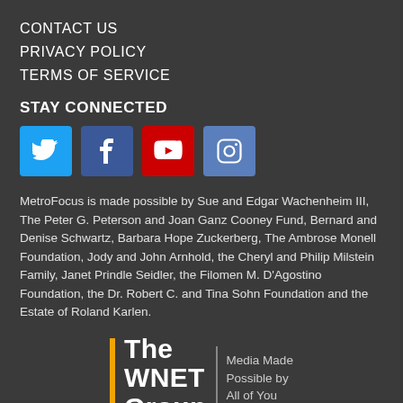CONTACT US
PRIVACY POLICY
TERMS OF SERVICE
STAY CONNECTED
[Figure (infographic): Social media icons: Twitter (blue), Facebook (blue), YouTube (red), Instagram (blue)]
MetroFocus is made possible by Sue and Edgar Wachenheim III, The Peter G. Peterson and Joan Ganz Cooney Fund, Bernard and Denise Schwartz, Barbara Hope Zuckerberg, The Ambrose Monell Foundation, Jody and John Arnhold, the Cheryl and Philip Milstein Family, Janet Prindle Seidler, the Filomen M. D'Agostino Foundation, the Dr. Robert C. and Tina Sohn Foundation and the Estate of Roland Karlen.
[Figure (logo): The WNET Group — Media Made Possible by All of You logo with gold vertical bar]